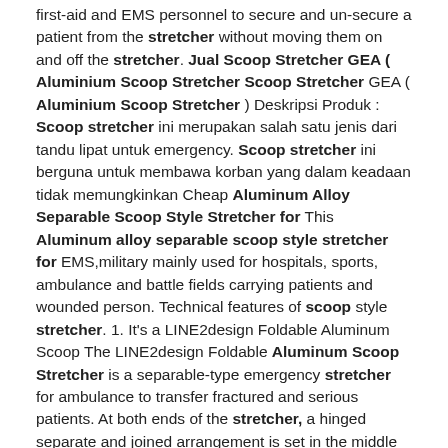first-aid and EMS personnel to secure and un-secure a patient from the stretcher without moving them on and off the stretcher. Jual Scoop Stretcher GEA ( Aluminium Scoop Stretcher Scoop Stretcher GEA ( Aluminium Scoop Stretcher ) Deskripsi Produk : Scoop stretcher ini merupakan salah satu jenis dari tandu lipat untuk emergency. Scoop stretcher ini berguna untuk membawa korban yang dalam keadaan tidak memungkinkan Cheap Aluminum Alloy Separable Scoop Style Stretcher for This Aluminum alloy separable scoop style stretcher for EMS,military mainly used for hospitals, sports, ambulance and battle fields carrying patients and wounded person. Technical features of scoop style stretcher. 1. It's a LINE2design Foldable Aluminum Scoop The LINE2design Foldable Aluminum Scoop Stretcher is a separable-type emergency stretcher for ambulance to transfer fractured and serious patients. At both ends of the stretcher, a hinged separate and joined arrangement is set in the middle to separate the stretcher into two parts(left & right part).Scooping aluminium stretcher 214x42x7 cm Scooping aluminium stretcher 214x42x7 cm. -24%. Free Shipping. 147.70 Excluding VAT 147.70. RRP 194.35. Available: 29/09/2021. Qty. Scoop stretcher used to lift injured people without moving them from their position. It has safety What is a scoop stretcher